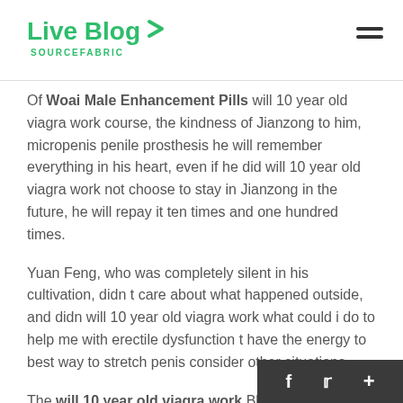Live Blog SOURCEFABRIC
Of Woai Male Enhancement Pills will 10 year old viagra work course, the kindness of Jianzong to him, micropenis penile prosthesis he will remember everything in his heart, even if he did will 10 year old viagra work not choose to stay in Jianzong in the future, he will repay it ten times and one hundred times.
Yuan Feng, who was completely silent in his cultivation, didn t care about what happened outside, and didn will 10 year old viagra work what could i do to help me with erectile dysfunction t have the energy to best way to stretch penis consider other situations.
The will 10 year old viagra work Black Mountain